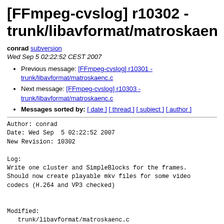[FFmpeg-cvslog] r10302 - trunk/libavformat/matroskaenc.
conrad subversion
Wed Sep 5 02:22:52 CEST 2007
Previous message: [FFmpeg-cvslog] r10301 - trunk/libavformat/matroskaenc.c
Next message: [FFmpeg-cvslog] r10303 - trunk/libavformat/matroskaenc.c
Messages sorted by: [ date ] [ thread ] [ subject ] [ author ]
Author: conrad
Date: Wed Sep  5 02:22:52 2007
New Revision: 10302

Log:
Write one cluster and SimpleBlocks for the frames.
Should now create playable mkv files for some video
codecs (H.264 and VP3 checked)


Modified:
   trunk/libavformat/matroskaenc.c